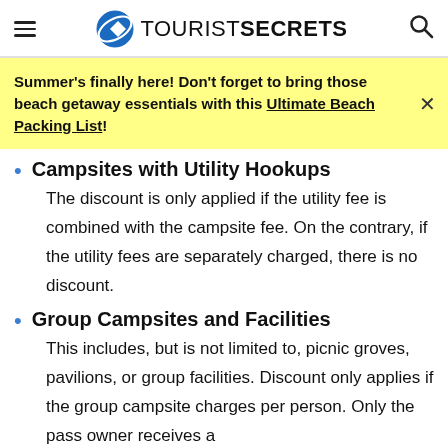TOURISTSECRETS
Summer's finally here! Don't forget to bring those beach getaway essentials with this Ultimate Beach Packing List!
Campsites with Utility Hookups
The discount is only applied if the utility fee is combined with the campsite fee. On the contrary, if the utility fees are separately charged, there is no discount.
Group Campsites and Facilities
This includes, but is not limited to, picnic groves, pavilions, or group facilities. Discount only applies if the group campsite charges per person. Only the pass owner receives a